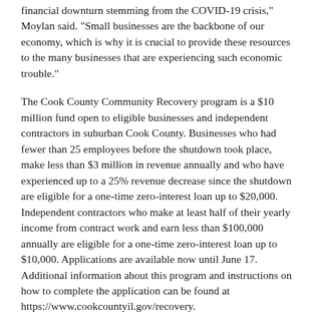financial downturn stemming from the COVID-19 crisis," Moylan said. "Small businesses are the backbone of our economy, which is why it is crucial to provide these resources to the many businesses that are experiencing such economic trouble."
The Cook County Community Recovery program is a $10 million fund open to eligible businesses and independent contractors in suburban Cook County. Businesses who had fewer than 25 employees before the shutdown took place, make less than $3 million in revenue annually and who have experienced up to a 25% revenue decrease since the shutdown are eligible for a one-time zero-interest loan up to $20,000. Independent contractors who make at least half of their yearly income from contract work and earn less than $100,000 annually are eligible for a one-time zero-interest loan up to $10,000. Applications are available now until June 17. Additional information about this program and instructions on how to complete the application can be found at https://www.cookcountyil.gov/recovery.
“These loans won’t solve all of the financial difficulties these businesses have experienced throughout the COVID-19 crisis, but it will definitely help,” Moylan said. “Illinois has to continue finding ways to support the small businesses who are in dire need of help. These businesses create jobs and drive our economy, so we have to take care of them for the sake of our economy as a whole.”
To stay up to date with the state’s response to COVID-19, please